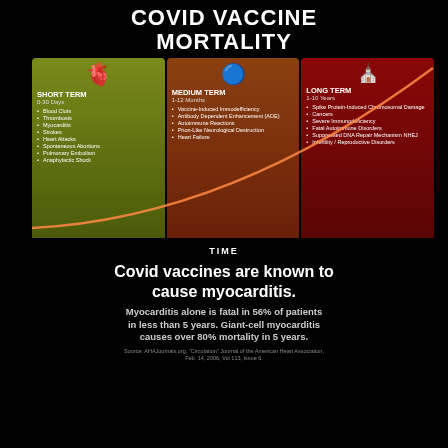COVID VACCINE MORTALITY
[Figure (infographic): Three-column infographic showing COVID Vaccine Mortality over time. Short Term (0-30 Days): Blood Clots, Thrombosis, Myocarditis, Strokes, Heart Attacks, Spontaneous Abortions, Pulmonary Embolism, Anaphylactic Shock. Medium Term (1-12 Months): Vaccine-Induced Immodefficiency, Antibody Dependent Enhancement (ADE), Autoimmune Reactions, Prion-Like Neurological Destruction, Heart Failure. Long Term (1-10 Years): Spike Protein-Induced Chromosomal Damage, Cancers, Severe Immunodeficiency, Fatal Autoimmune Disorders, Suppressed DNA Repair Mechanism NHEJ, Infertility / Reproductive Disorders. An exponential curve overlays the chart rising from short to long term.]
Covid vaccines are known to cause myocarditis.
Myocarditis alone is fatal in 56% of patients in less than 5 years. Giant-cell myocarditis causes over 80% mortality in 5 years.
Source: AHAJournals.org, 'Circulation' Journal of the American Heart Association, Feb. 14, 2006, Vol 113, Issue 6.